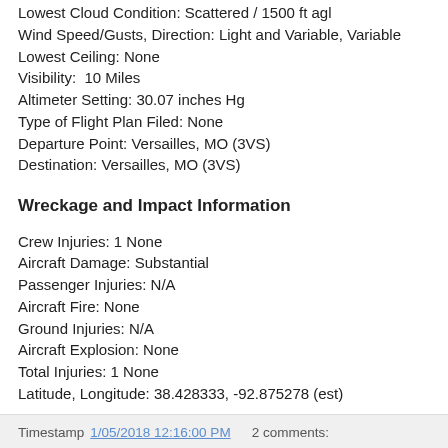Lowest Cloud Condition: Scattered / 1500 ft agl
Wind Speed/Gusts, Direction: Light and Variable, Variable
Lowest Ceiling: None
Visibility:  10 Miles
Altimeter Setting: 30.07 inches Hg
Type of Flight Plan Filed: None
Departure Point: Versailles, MO (3VS)
Destination: Versailles, MO (3VS)
Wreckage and Impact Information
Crew Injuries: 1 None
Aircraft Damage: Substantial
Passenger Injuries: N/A
Aircraft Fire: None
Ground Injuries: N/A
Aircraft Explosion: None
Total Injuries: 1 None
Latitude, Longitude: 38.428333, -92.875278 (est)
Timestamp 1/05/2018 12:16:00 PM   2 comments: